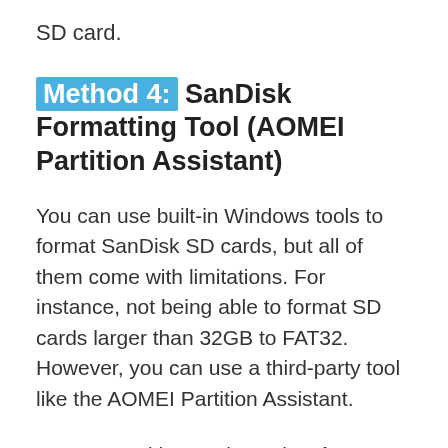SD card.
Method 4: SanDisk Formatting Tool (AOMEI Partition Assistant)
You can use built-in Windows tools to format SanDisk SD cards, but all of them come with limitations. For instance, not being able to format SD cards larger than 32GB to FAT32. However, you can use a third-party tool like the AOMEI Partition Assistant.
AOMEI Partition Assistant is a free SanDisk SD card formatter that can make the process faster